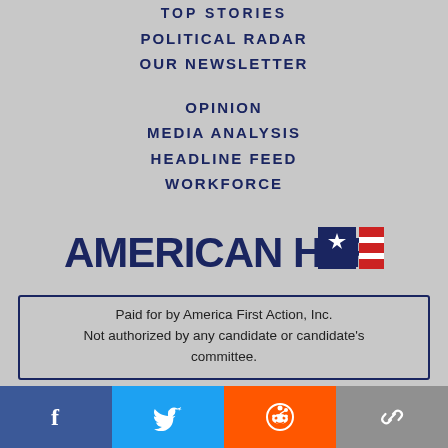TOP STORIES
POLITICAL RADAR
OUR NEWSLETTER
OPINION
MEDIA ANALYSIS
HEADLINE FEED
WORKFORCE
[Figure (logo): American Herald logo with navy bold text and a red, white and blue flag icon]
Paid for by America First Action, Inc. Not authorized by any candidate or candidate's committee.
[Figure (infographic): Social share bar with Facebook, Twitter, Reddit, and link/copy icons]